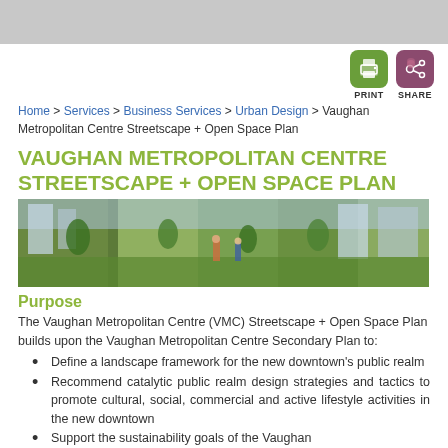[Figure (screenshot): Print and Share icon buttons]
Home > Services > Business Services > Urban Design > Vaughan Metropolitan Centre Streetscape + Open Space Plan
VAUGHAN METROPOLITAN CENTRE STREETSCAPE + OPEN SPACE PLAN
[Figure (photo): Panoramic street-level photo of an urban streetscape with trees, pedestrians, green lawns, and modern buildings]
Purpose
The Vaughan Metropolitan Centre (VMC) Streetscape + Open Space Plan builds upon the Vaughan Metropolitan Centre Secondary Plan to:
Define a landscape framework for the new downtown's public realm
Recommend catalytic public realm design strategies and tactics to promote cultural, social, commercial and active lifestyle activities in the new downtown
Support the sustainability goals of the Vaughan